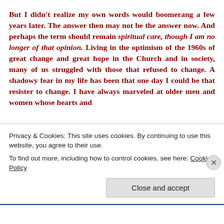But I didn't realize my own words would boomerang a few years later. The answer then may not be the answer now. And perhaps the term should remain spiritual care, though I am no longer of that opinion. Living in the optimism of the 1960s of great change and great hope in the Church and in society, many of us struggled with those that refused to change. A shadowy fear in my life has been that one day I could be that resister to change. I have always marveled at older men and women whose hearts and
Privacy & Cookies: This site uses cookies. By continuing to use this website, you agree to their use.
To find out more, including how to control cookies, see here: Cookie Policy
Close and accept